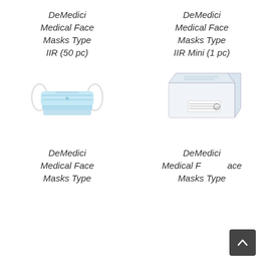DeMedici Medical Face Masks Type IIR (50 pc)
[Figure (photo): Stack of blue disposable medical face masks with white ear loops]
DeMedici Medical Face Masks Type IIR Mini (1 pc)
[Figure (photo): White box packaging of DeMedici Medical Face Masks]
DeMedici Medical Face Masks Type
DeMedici Medical Face Masks Type